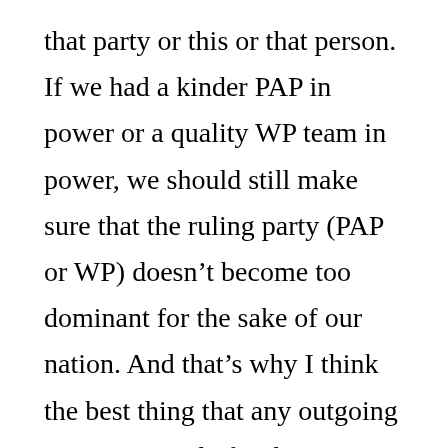that party or this or that person. If we had a kinder PAP in power or a quality WP team in power, we should still make sure that the ruling party (PAP or WP) doesn't become too dominant for the sake of our nation. And that's why I think the best thing that any outgoing PAP MP can do for the country is to help the various opposition parties. This would be a true national service for the sake of the future of Singapore.
I also liked the views of new MP BG (NS)